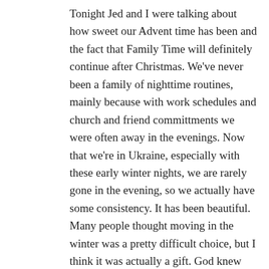Tonight Jed and I were talking about how sweet our Advent time has been and the fact that Family Time will definitely continue after Christmas. We've never been a family of nighttime routines, mainly because with work schedules and church and friend committments we were often away in the evenings. Now that we're in Ukraine, especially with these early winter nights, we are rarely gone in the evening, so we actually have some consistency. It has been beautiful. Many people thought moving in the winter was a pretty difficult choice, but I think it was actually a gift. God knew our family would need a bit of a hibernation period as we enter this new life. It's hard to hibernate in the summer! 🙂